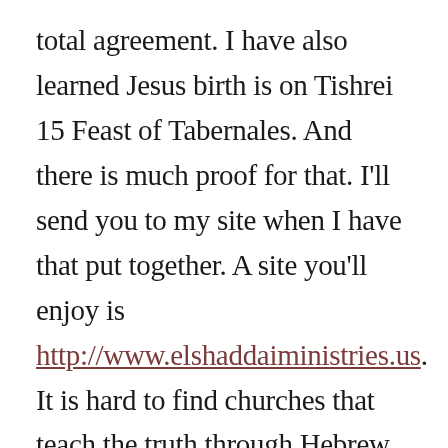total agreement. I have also learned Jesus birth is on Tishrei 15 Feast of Tabernales. And there is much proof for that. I'll send you to my site when I have that put together. A site you'll enjoy is http://www.elshaddaiministries.us. It is hard to find churches that teach the truth through Hebrew Roots....this has been an amazing